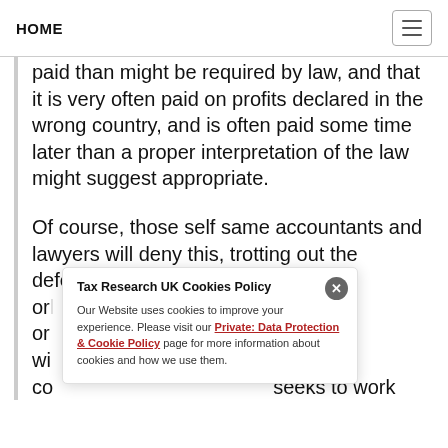HOME
paid than might be required by law, and that it is very often paid on profits declared in the wrong country, and is often paid some time later than a proper interpretation of the law might suggest appropriate.
Of course, those self same accountants and lawyers will deny this, trotting out the defence that "avoidance is legal and only...ought to be...on...work with...community which seeks to work"
Tax Research UK Cookies Policy

Our Website uses cookies to improve your experience. Please visit our Private: Data Protection & Cookie Policy page for more information about cookies and how we use them.